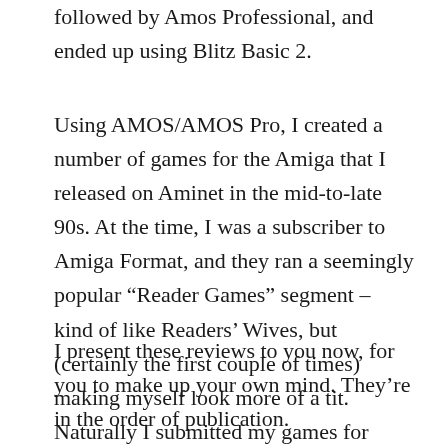followed by Amos Professional, and ended up using Blitz Basic 2.
Using AMOS/AMOS Pro, I created a number of games for the Amiga that I released on Aminet in the mid-to-late 90s. At the time, I was a subscriber to Amiga Format, and they ran a seemingly popular “Reader Games” segment – kind of like Readers’ Wives, but (certainly the first couple of times) making myself look more of a tit. Naturally I submitted my games for review in this magazine section.
I present these reviews to you now, for you to make up your own mind. They’re in the order of publication.